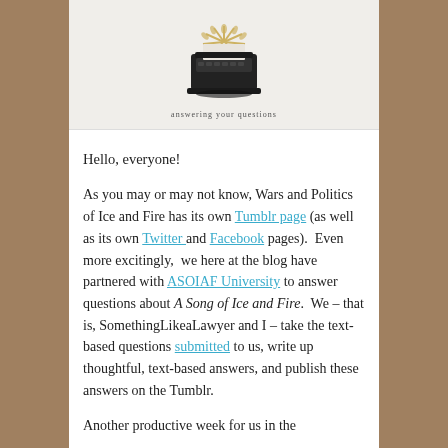[Figure (illustration): A typewriter illustration with golden leaf/burst decorations on a light gray background, with text 'answering your questions' below the typewriter]
Hello, everyone!
As you may or may not know, Wars and Politics of Ice and Fire has its own Tumblr page (as well as its own Twitter and Facebook pages). Even more excitingly, we here at the blog have partnered with ASOIAF University to answer questions about A Song of Ice and Fire. We – that is, SomethingLikeaLawyer and I – take the text-based questions submitted to us, write up thoughtful, text-based answers, and publish these answers on the Tumblr.
Another productive week for us in the